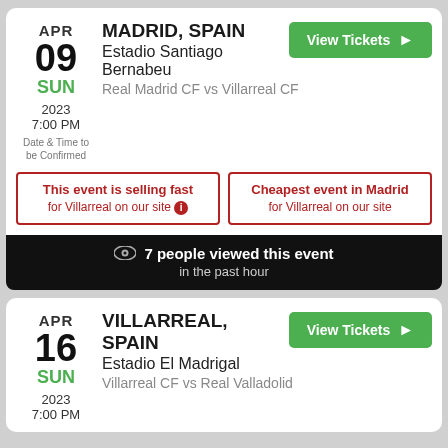MADRID, SPAIN | APR 09 SUN | Estadio Santiago Bernabeu | Real Madrid CF vs Villarreal CF | 2023 | 7:00 PM | Date & Time to be Confirmed | View Tickets
This event is selling fast for Villarreal on our site | Cheapest event in Madrid for Villarreal on our site
7 people viewed this event in the past hour
VILLARREAL, SPAIN | APR 16 SUN | Estadio El Madrigal | Villarreal CF vs Real Valladolid | 2023 | 7:00 PM | View Tickets